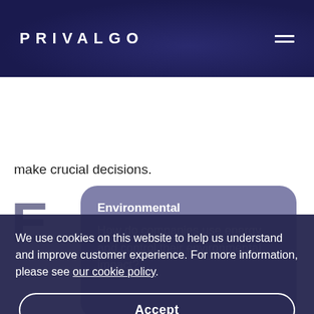PRIVALGO
make crucial decisions.
Environmental
How do companies use energy and control their environmental impact?
We use cookies on this website to help us understand and improve customer experience. For more information, please see our cookie policy.
Accept